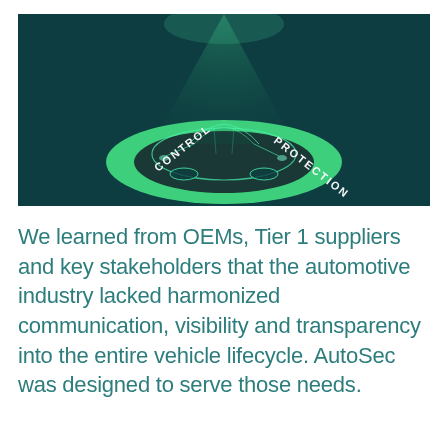[Figure (illustration): Automotive cybersecurity illustration: a car wireframe/hologram centered inside a glowing green ring with text 'CONTROL' on the left and 'PROTECTION' on the right, set against a dark teal/green background with a spotlight beam shining down from above.]
We learned from OEMs, Tier 1 suppliers and key stakeholders that the automotive industry lacked harmonized communication, visibility and transparency into the entire vehicle lifecycle. AutoSec was designed to serve those needs.